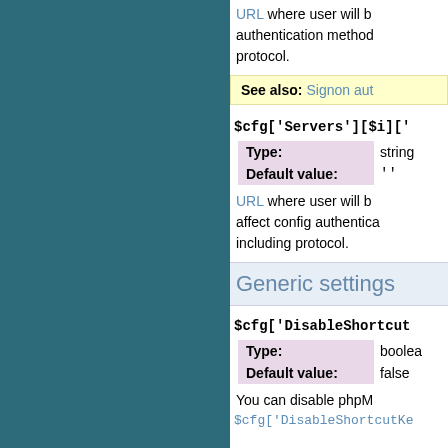URL where user will be ... authentication method ... protocol.
See also: Signon aut...
$cfg['Servers'][$i]['...
| Type: | string |
| --- | --- |
| Default value: | '' |
URL where user will b... affect config authentica... including protocol.
Generic settings
$cfg['DisableShortcut...
| Type: | boolean |
| --- | --- |
| Default value: | false |
You can disable phpM...
$cfg['DisableShortcutKe...